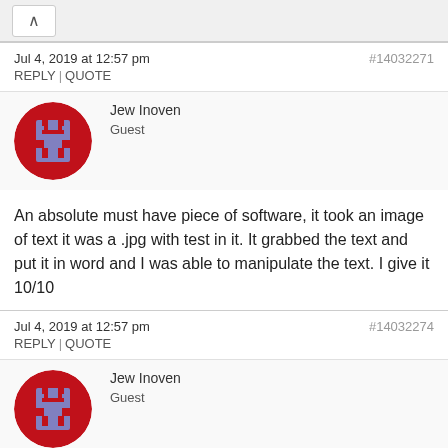^
Jul 4, 2019 at 12:57 pm   #14032271
REPLY | QUOTE
[Figure (illustration): Red circle avatar with a pixel-art purple character inside, used as user profile picture for Jew Inoven]
Jew Inoven
Guest
An absolute must have piece of software, it took an image of text it was a .jpg with test in it. It grabbed the text and put it in word and I was able to manipulate the text. I give it 10/10
Jul 4, 2019 at 12:57 pm   #14032274
REPLY | QUOTE
[Figure (illustration): Red circle avatar with a pixel-art purple character inside, used as user profile picture for Jew Inoven]
Jew Inoven
Guest
[@Jew Inoven] FUck you wetback go eat a taco